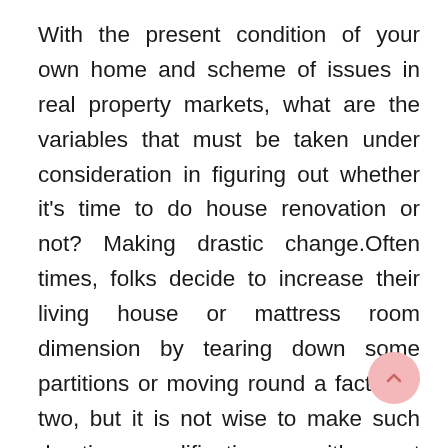With the present condition of your own home and scheme of issues in real property markets, what are the variables that must be taken under consideration in figuring out whether it's time to do house renovation or not? Making drastic change.Often times, folks decide to increase their living house or mattress room dimension by tearing down some partitions or moving round a factor or two, but it is not wise to make such drastic modifications with out consulting with an structure and discussing your own home's layout with him.